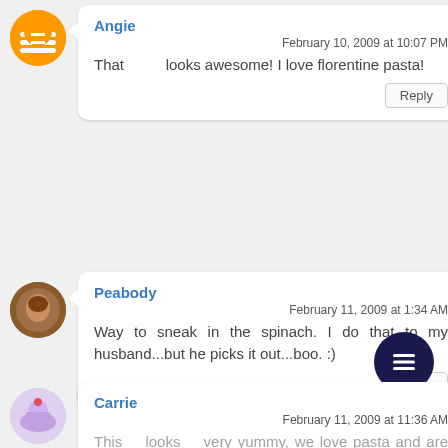Angie
February 10, 2009 at 10:07 PM
That looks awesome! I love florentine pasta!
Reply
Peabody
February 11, 2009 at 1:34 AM
Way to sneak in the spinach. I do that to my husband...but he picks it out...boo. :)
Reply
Carrie
February 11, 2009 at 11:36 AM
This looks very yummy, we love pasta and are always looking for new recipes...